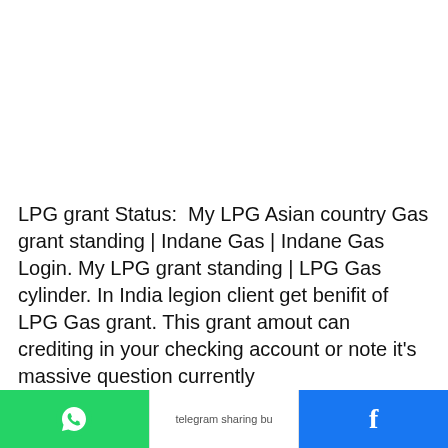LPG grant Status:  My LPG Asian country Gas grant standing | Indane Gas | Indane Gas Login. My LPG grant standing | LPG Gas cylinder. In India legion client get benifit of LPG Gas grant. This grant amout can crediting in your checking account or note it's massive question currently
[Figure (other): Social sharing bar at the bottom with WhatsApp (green), Telegram (white with icon placeholder), and Facebook (blue) share buttons]